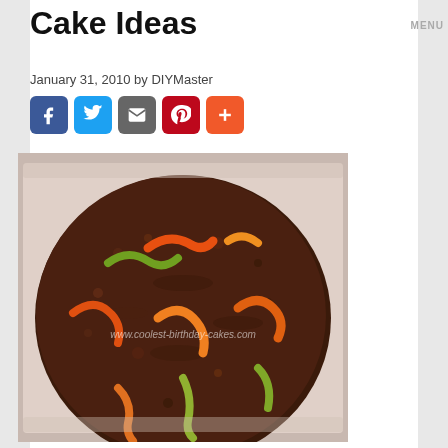Cake Ideas
January 31, 2010 by DIYMaster
[Figure (infographic): Social share buttons row: Facebook (blue), Twitter (light blue), Email (gray), Pinterest (red), Plus/Google+ (orange-red)]
[Figure (photo): Birthday cake decorated with chocolate crumbs to look like dirt, with colorful gummy worms (orange, green) emerging from the surface. Watermark reads www.coolest-birthday-cakes.com]